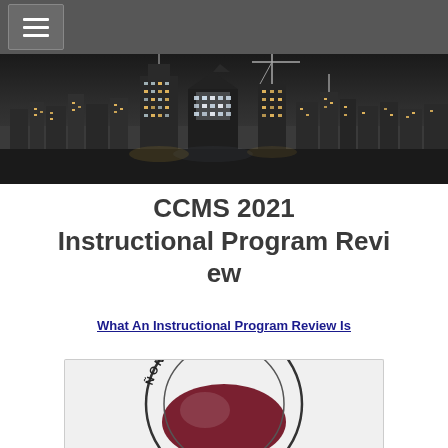[Figure (screenshot): Navigation bar with hamburger menu button on dark gray background]
[Figure (photo): Black and white aerial night cityscape photo showing city skyline with tall buildings, cranes, and radio towers]
CCMS 2021 Instructional Program Review
What An Instructional Program Review Is
[Figure (logo): Canon City Schools district logo - circular emblem with text 'CANON CITY SCHOOL' visible at top, partially cropped]